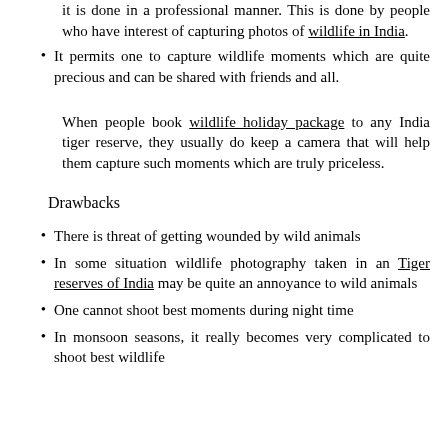it is done in a professional manner. This is done by people who have interest of capturing photos of wildlife in India.
It permits one to capture wildlife moments which are quite precious and can be shared with friends and all.
When people book wildlife holiday package to any India tiger reserve, they usually do keep a camera that will help them capture such moments which are truly priceless.
Drawbacks
There is threat of getting wounded by wild animals
In some situation wildlife photography taken in an Tiger reserves of India may be quite an annoyance to wild animals
One cannot shoot best moments during night time
In monsoon seasons, it really becomes very complicated to shoot best wildlife